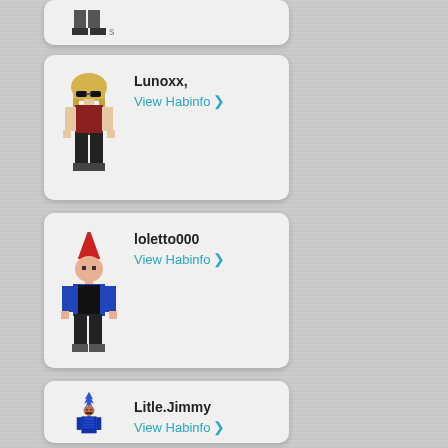[Figure (screenshot): Partial user card at top, showing bottom portion of a pixel-art avatar (dark shoes/feet)]
Lunoxx,
View Habinfo ❯
[Figure (illustration): Pixel-art avatar with blonde hair, sunglasses, dark top, black pants]
loletto000
View Habinfo ❯
[Figure (illustration): Pixel-art avatar with red santa hat, blue jacket, dark pants]
Litle.Jimmy
View Habinfo ❯
[Figure (illustration): Pixel-art avatar with blue spiky hair, blue armor/suit]
UZl?